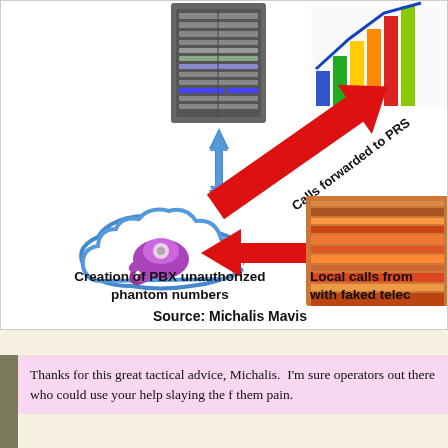[Figure (infographic): Diagram showing PBX unauthorized phantom numbers with a cloud icon containing a purple telephone, a blue bidirectional arrow pointing to a PBX server rack, a red arrow labeled 'Calls forwarded to PRS' pointing upper right, a red arrow pointing left toward the cloud, and a colorful bar chart in the upper right. Also shows a photo of books/binders in the right side.]
Creation of PBX unauthorized phantom numbers
Local calls from with faked telec
Source: Michalis Mavis
Thanks for this great tactical advice, Michalis.  I'm sure operators out there who could use your help slaying the f them pain.